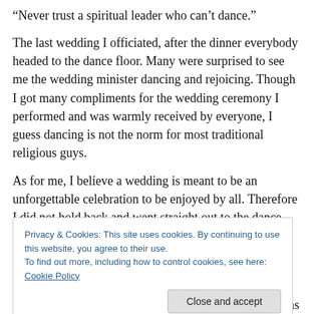“Never trust a spiritual leader who can’t dance.”
The last wedding I officiated, after the dinner everybody headed to the dance floor. Many were surprised to see me the wedding minister dancing and rejoicing. Though I got many compliments for the wedding ceremony I performed and was warmly received by everyone, I guess dancing is not the norm for most traditional religious guys.
As for me, I believe a wedding is meant to be an unforgettable celebration to be enjoyed by all. Therefore I did not hold back and went straight out to the dance floor
Privacy & Cookies: This site uses cookies. By continuing to use this website, you agree to their use.
To find out more, including how to control cookies, see here: Cookie Policy
instrument holding nothing back. Let everything that has